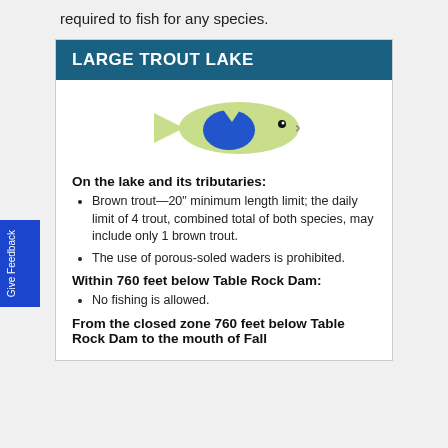required to fish for any species.
LARGE TROUT LAKE
[Figure (illustration): Illustration of a trout fish with a green body and blue marking]
On the lake and its tributaries:
Brown trout—20" minimum length limit; the daily limit of 4 trout, combined total of both species, may include only 1 brown trout.
The use of porous-soled waders is prohibited.
Within 760 feet below Table Rock Dam:
No fishing is allowed.
From the closed zone 760 feet below Table Rock Dam to the mouth of Fall